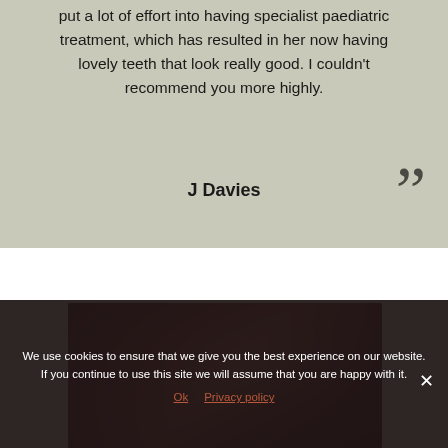put a lot of effort into having specialist paediatric treatment, which has resulted in her now having lovely teeth that look really good. I couldn't recommend you more highly.
””
J Davies
[Figure (photo): Close-up photo of teeth/dental work, partially visible, dark reddish-brown tones]
We use cookies to ensure that we give you the best experience on our website. If you continue to use this site we will assume that you are happy with it.
Ok   Privacy policy